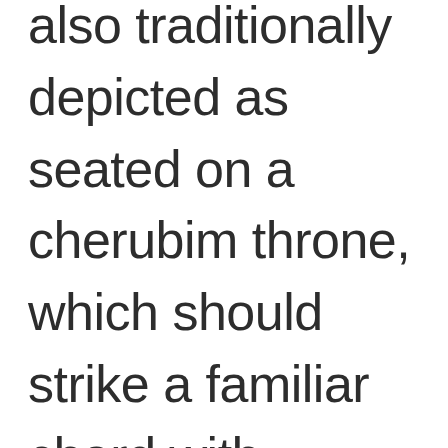also traditionally depicted as seated on a cherubim throne, which should strike a familiar chord with